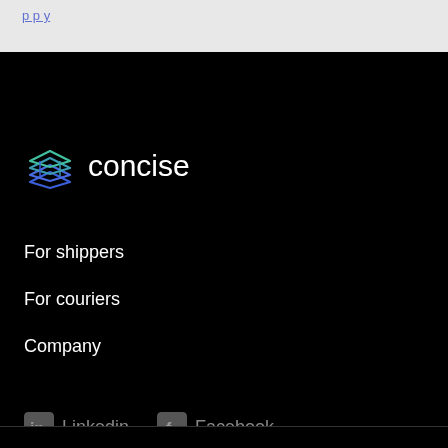concise
[Figure (logo): Concise logo with geometric layered icon in teal/blue gradient and white wordmark 'concise']
For shippers
For couriers
Company
[Figure (logo): LinkedIn icon in grey square with text 'Linkedin']
[Figure (logo): Facebook icon in grey square with text 'Facebook']